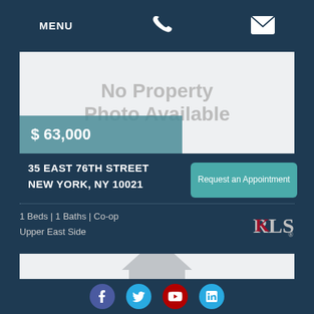MENU
[Figure (photo): No Property Photo Available placeholder image with grey text]
$ 63,000
35 EAST 76TH STREET NEW YORK, NY 10021
Request an Appointment
1 Beds | 1 Baths | Co-op
Upper East Side
[Figure (illustration): House/home icon placeholder image]
Social icons: Facebook, Twitter, YouTube, LinkedIn